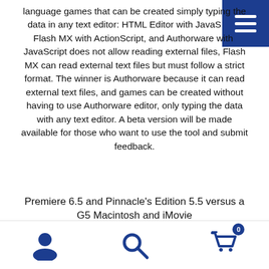language games that can be created simply typing the data in any text editor: HTML Editor with JavaScript, Flash MX with ActionScript, and Authorware with. JavaScript does not allow reading external files, Flash MX can read external text files but must follow a strict format. The winner is Authorware because it can read external text files, and games can be created without having to use Authorware editor, only typing the data with any text editor. A beta version will be made available for those who want to use the tool and submit feedback.
Premiere 6.5 and Pinnacle's Edition 5.5 versus a G5 Macintosh and iMovie
Jay Bodine